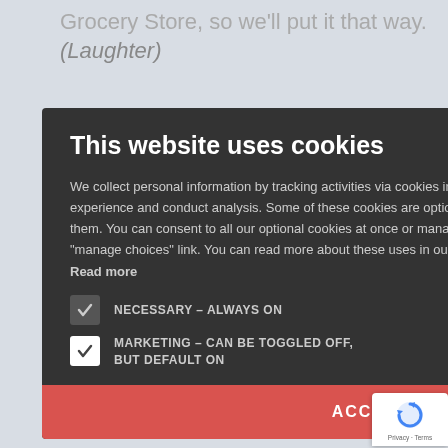Grocery Store, so we'll put it that way. (Laughter)
I like
oach of
financials or
pting, and
ries, which
diverse array
by a Clark
the unique
experie
he way.
[Figure (screenshot): Cookie consent modal dialog. Title: 'This website uses cookies'. Body text explaining cookie usage and personal information collection. Two checkboxes: 'NECESSARY – ALWAYS ON' (checked, dark) and 'MARKETING – CAN BE TOGGLED OFF, BUT DEFAULT ON' (checked, white). A red 'ACCEPT ALL' button at the bottom. Close (X) button in top right.]
[Figure (logo): Google reCAPTCHA badge with spinning arrow logo and 'Privacy - Terms' text]